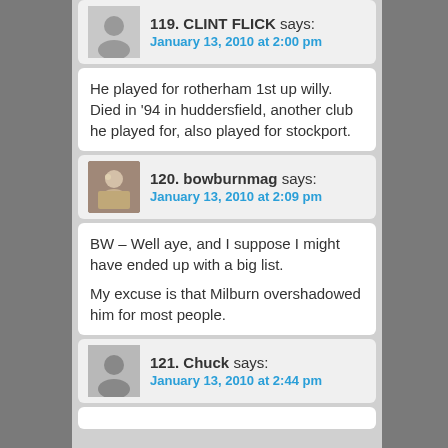119. CLINT FLICK says:
January 13, 2010 at 2:00 pm
He played for rotherham 1st up willy.
Died in '94 in huddersfield, another club he played for, also played for stockport.
120. bowburnmag says:
January 13, 2010 at 2:09 pm
BW – Well aye, and I suppose I might have ended up with a big list.

My excuse is that Milburn overshadowed him for most people.
121. Chuck says:
January 13, 2010 at 2:44 pm